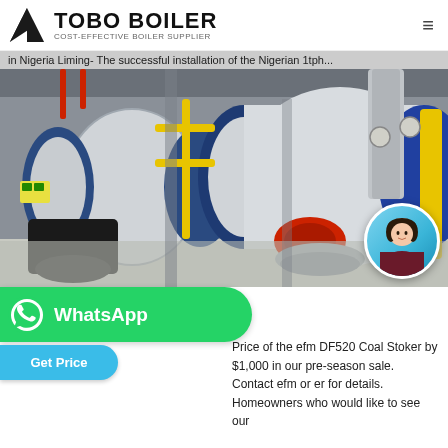TOBO BOILER — COST-EFFECTIVE BOILER SUPPLIER
in Nigeria Liming- The successful installation of the Nigerian 1tph...
[Figure (photo): Industrial boiler room showing two large horizontal fire-tube boilers with blue casings, yellow gas piping, red burners, and associated equipment installed in a factory setting.]
Leave [ofreelasting.com]
Price of the efm DF520 Coal Stoker by $1,000 in our pre-season sale. Contact efm or er for details. Homeowners who would like to see our